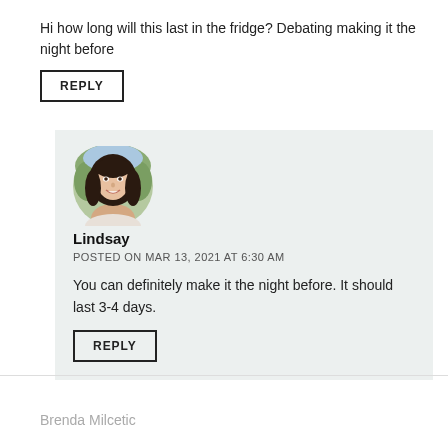Hi how long will this last in the fridge? Debating making it the night before
REPLY
[Figure (photo): Circular avatar photo of a woman with dark hair, smiling, outdoors background]
Lindsay
POSTED ON MAR 13, 2021 AT 6:30 AM
You can definitely make it the night before. It should last 3-4 days.
REPLY
Brenda Milcetic